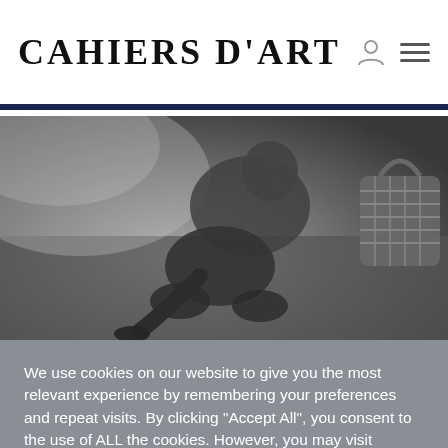CAHIERS D'ART
[Figure (photo): Black and white photograph of a person crouching or kneeling on grass, with a woven basket visible in the upper right area of the image.]
We use cookies on our website to give you the most relevant experience by remembering your preferences and repeat visits. By clicking "Accept All", you consent to the use of ALL the cookies. However, you may visit "Cookie Settings" to provide a controlled consent.
Cookie Settings | Accept All